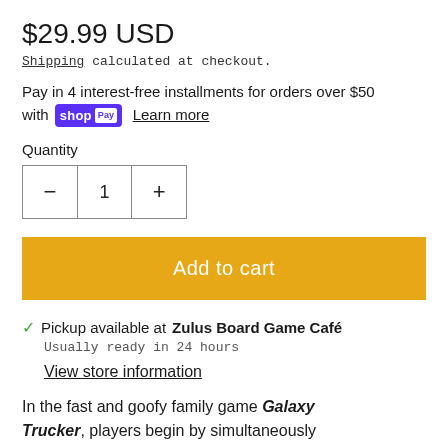$29.99 USD
Shipping calculated at checkout.
Pay in 4 interest-free installments for orders over $50 with Shop Pay  Learn more
Quantity
- 1 +
Add to cart
✓ Pickup available at Zulus Board Game Café
Usually ready in 24 hours
View store information
In the fast and goofy family game Galaxy Trucker, players begin by simultaneously